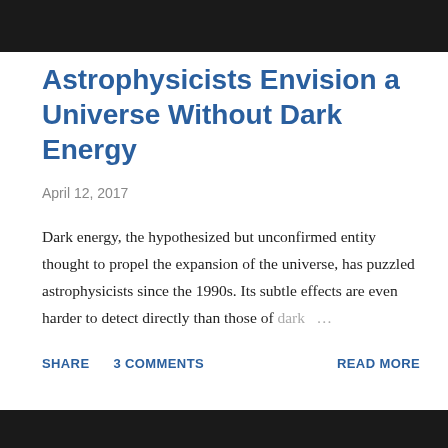Astrophysicists Envision a Universe Without Dark Energy
April 12, 2017
Dark energy, the hypothesized but unconfirmed entity thought to propel the expansion of the universe, has puzzled astrophysicists since the 1990s. Its subtle effects are even harder to detect directly than those of dark …
SHARE   3 COMMENTS   READ MORE